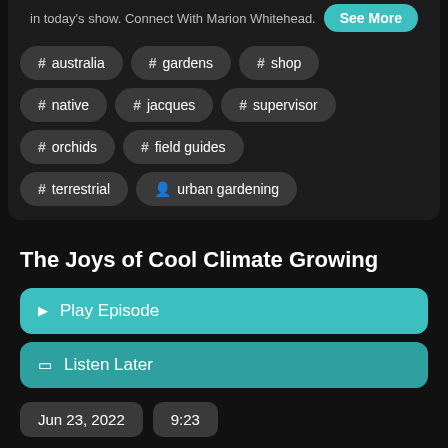in today's show. Connect With Marion Whitehead.
# australia
# gardens
# shop
# native
# jacques
# supervisor
# orchids
# field guides
# terrestrial
urban gardening
The Joys of Cool Climate Growing
Play Episode
Listen Later
Jun 23, 2022
9:23